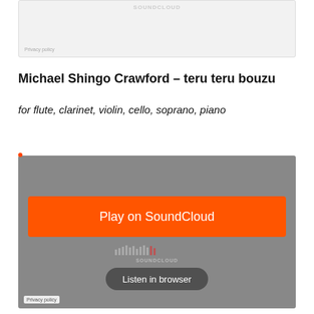[Figure (screenshot): SoundCloud embedded player widget (top, partially visible) with gray background and Privacy policy link]
Michael Shingo Crawford – teru teru bouzu
for flute, clarinet, violin, cello, soprano, piano
[Figure (screenshot): SoundCloud embedded player widget with gray background, orange 'Play on SoundCloud' button, waveform, SoundCloud logo, 'Listen in browser' button, and Privacy policy link]